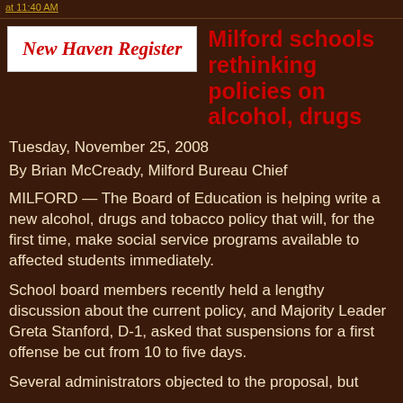at 11:40 AM
[Figure (logo): New Haven Register logo — serif blackletter red text on white background]
Milford schools rethinking policies on alcohol, drugs
Tuesday, November 25, 2008
By Brian McCready, Milford Bureau Chief
MILFORD — The Board of Education is helping write a new alcohol, drugs and tobacco policy that will, for the first time, make social service programs available to affected students immediately.
School board members recently held a lengthy discussion about the current policy, and Majority Leader Greta Stanford, D-1, asked that suspensions for a first offense be cut from 10 to five days.
Several administrators objected to the proposal, but